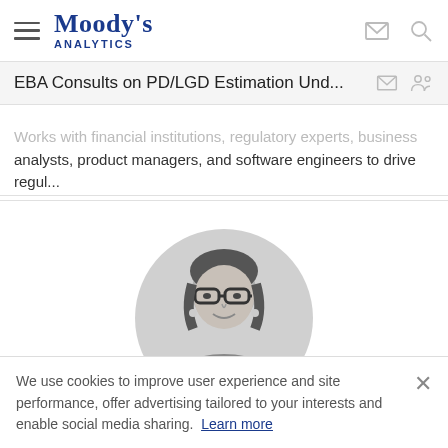[Figure (logo): Moody's Analytics logo with hamburger menu icon and email/search icons]
EBA Consults on PD/LGD Estimation Und...
Works with financial institutions, regulatory experts, business analysts, product managers, and software engineers to drive regul...
[Figure (photo): Black and white circular profile photo of a woman with glasses and dark hair]
We use cookies to improve user experience and site performance, offer advertising tailored to your interests and enable social media sharing. Learn more